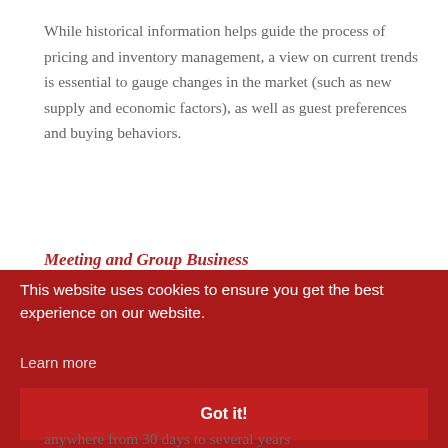While historical information helps guide the process of pricing and inventory management, a view on current trends is essential to gauge changes in the market (such as new supply and economic factors), as well as guest preferences and buying behaviors.
Meeting and Group Business
This website uses cookies to ensure you get the best experience on our website.
Learn more
Got it!
anywhere from 30 days to several years